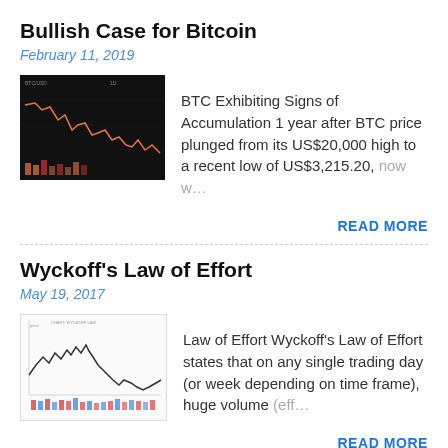Bullish Case for Bitcoin
February 11, 2019
[Figure (screenshot): Dark Bitcoin price chart showing candlestick/line data with orange/red highlights]
BTC Exhibiting Signs of Accumulation 1 year after BTC price plunged from its US$20,000 high to a recent low of US$3,215.20, now w…
READ MORE
Wyckoff's Law of Effort
May 19, 2017
[Figure (screenshot): Stock/crypto chart with price line showing wave pattern and colored volume bars at bottom]
Law of Effort Wyckoff's Law of Effort states that on any single trading day (or week depending on time frame), huge volume (eff…
READ MORE